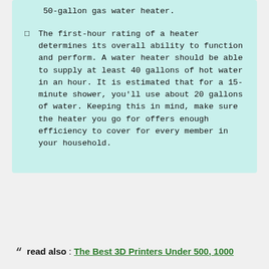50-gallon gas water heater.
The first-hour rating of a heater determines its overall ability to function and perform. A water heater should be able to supply at least 40 gallons of hot water in an hour. It is estimated that for a 15-minute shower, you'll use about 20 gallons of water. Keeping this in mind, make sure the heater you go for offers enough efficiency to cover for every member in your household.
read also : The Best 3D Printers Under 500, 1000